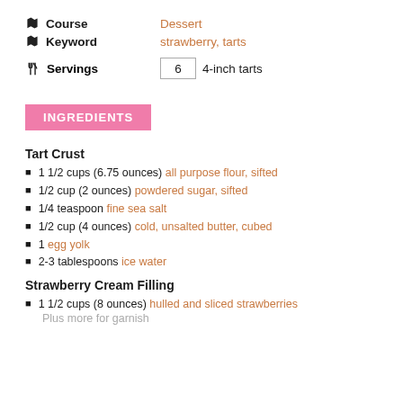Course   Dessert
Keyword   strawberry, tarts
Servings   6   4-inch tarts
INGREDIENTS
Tart Crust
1 1/2 cups (6.75 ounces) all purpose flour, sifted
1/2 cup (2 ounces) powdered sugar, sifted
1/4 teaspoon fine sea salt
1/2 cup (4 ounces) cold, unsalted butter, cubed
1 egg yolk
2-3 tablespoons ice water
Strawberry Cream Filling
1 1/2 cups (8 ounces) hulled and sliced strawberries Plus more for garnish